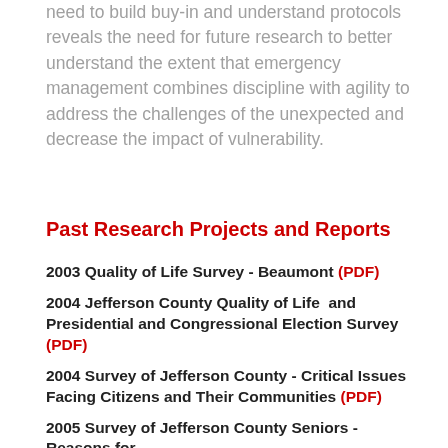need to build buy-in and understand protocols reveals the need for future research to better understand the extent that emergency management combines discipline with agility to address the challenges of the unexpected and decrease the impact of vulnerability.
Past Research Projects and Reports
2003 Quality of Life Survey - Beaumont (PDF)
2004 Jefferson County Quality of Life  and Presidential and Congressional Election Survey (PDF)
2004 Survey of Jefferson County - Critical Issues Facing Citizens and Their Communities (PDF)
2005 Survey of Jefferson County Seniors - Reasons for